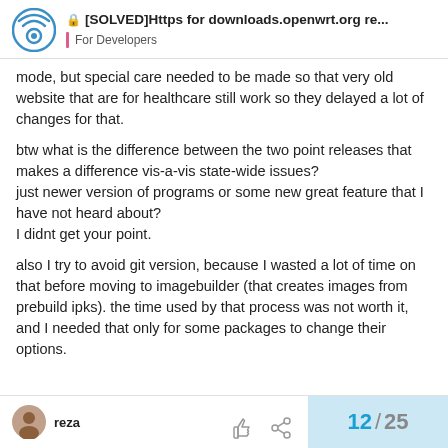[SOLVED]Https for downloads.openwrt.org re... | For Developers
mode, but special care needed to be made so that very old website that are for healthcare still work so they delayed a lot of changes for that.
btw what is the difference between the two point releases that makes a difference vis-a-vis state-wide issues?
just newer version of programs or some new great feature that I have not heard about?
I didnt get your point.
also I try to avoid git version, because I wasted a lot of time on that before moving to imagebuilder (that creates images from prebuild ipks). the time used by that process was not worth it, and I needed that only for some packages to change their options.
12 / 25 | reza